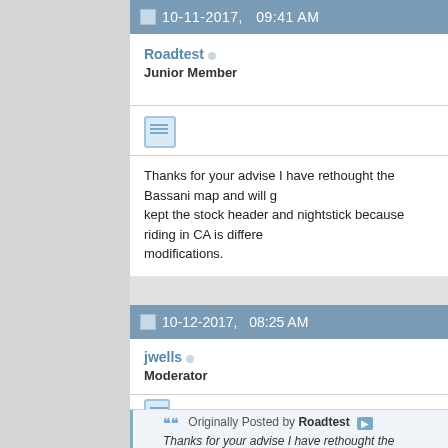10-11-2017,   09:41 AM
Roadtest
Junior Member
Thanks for your advise I have rethought the Bassani map and will g... kept the stock header and nightstick because riding in CA is differe... modifications.
10-12-2017,   08:25 AM
jwells
Moderator
Originally Posted by Roadtest
Thanks for your advise I have rethought the Bassani map a... aggressive one. I've kept the stock header and nightstick be... different with Man being aggressive on modifications.